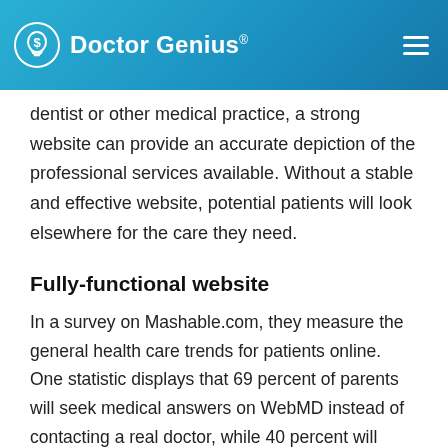Doctor Genius®
dentist or other medical practice, a strong website can provide an accurate depiction of the professional services available. Without a stable and effective website, potential patients will look elsewhere for the care they need.
Fully-functional website
In a survey on Mashable.com, they measure the general health care trends for patients online. One statistic displays that 69 percent of parents will seek medical answers on WebMD instead of contacting a real doctor, while 40 percent will search Wikipedia, 22 percent on Facebook and 20 percent on YouTube. With the internet